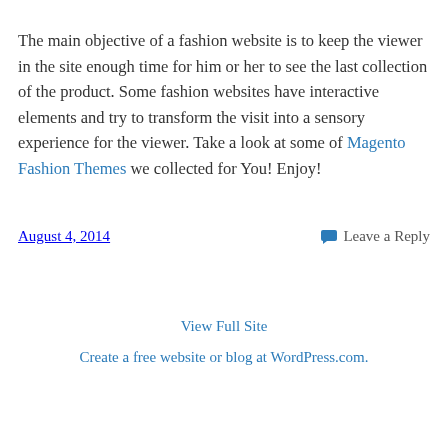The main objective of a fashion website is to keep the viewer in the site enough time for him or her to see the last collection of the product. Some fashion websites have interactive elements and try to transform the visit into a sensory experience for the viewer. Take a look at some of Magento Fashion Themes we collected for You! Enjoy!
August 4, 2014   Leave a Reply
View Full Site
Create a free website or blog at WordPress.com.